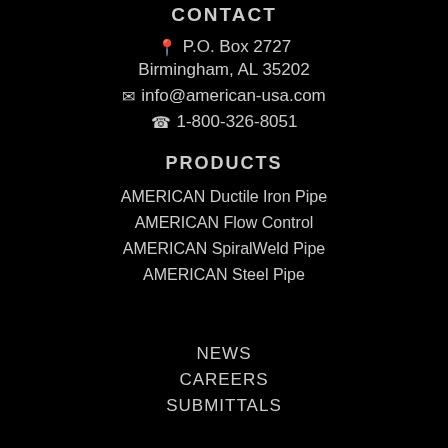CONTACT
P.O. Box 2727
Birmingham, AL 35202
info@american-usa.com
1-800-326-8051
PRODUCTS
AMERICAN Ductile Iron Pipe
AMERICAN Flow Control
AMERICAN SpiralWeld Pipe
AMERICAN Steel Pipe
NEWS
CAREERS
SUBMITTALS